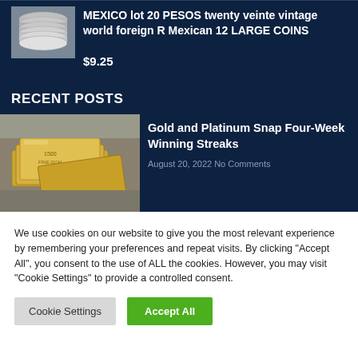[Figure (photo): Stack of silver coins - Mexico pesos product thumbnail]
MEXICO lot 20 PESOS twenty veinte vintage world foreign R Mexican 12 LARGE COINS
$9.25
RECENT POSTS
[Figure (photo): Gold bars/bullion stacked on a surface - image for recent post about gold and platinum]
Gold and Platinum Snap Four-Week Winning Streaks
August 20, 2022  No Comments
We use cookies on our website to give you the most relevant experience by remembering your preferences and repeat visits. By clicking "Accept All", you consent to the use of ALL the cookies. However, you may visit "Cookie Settings" to provide a controlled consent.